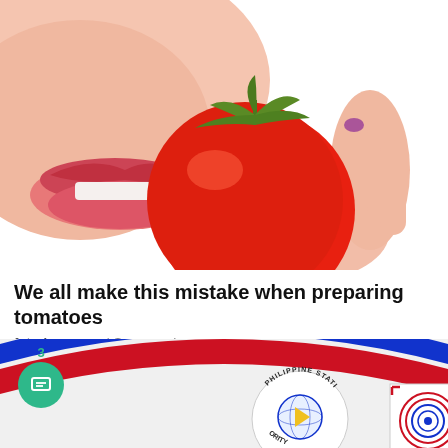[Figure (photo): Close-up photo of a woman biting into a cherry tomato held between fingers with purple nail polish, white background]
We all make this mistake when preparing tomatoes
futurbuzz.com | Sponsored
[Figure (logo): Partially visible logos: Philippine Statistics Authority seal on the left and another institutional logo on the right, against a red, white and blue curved background]